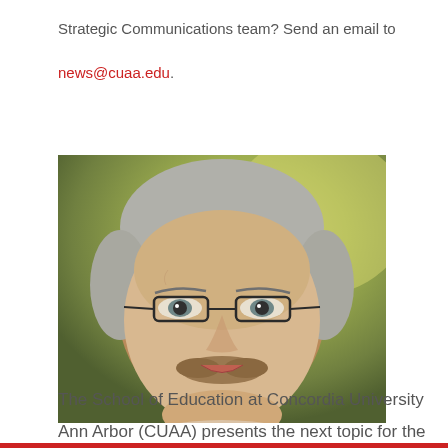Strategic Communications team? Send an email to
news@cuaa.edu.
[Figure (photo): Headshot photo of a middle-aged man with gray hair, glasses, and a mustache, smiling slightly, taken outdoors with a blurred green/golden background.]
The School of Education at Concordia University
Ann Arbor (CUAA) presents the next topic for the